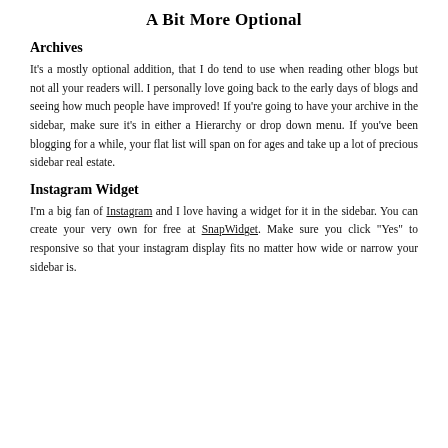A Bit More Optional
Archives
It's a mostly optional addition, that I do tend to use when reading other blogs but not all your readers will. I personally love going back to the early days of blogs and seeing how much people have improved! If you're going to have your archive in the sidebar, make sure it's in either a Hierarchy or drop down menu. If you've been blogging for a while, your flat list will span on for ages and take up a lot of precious sidebar real estate.
Instagram Widget
I'm a big fan of Instagram and I love having a widget for it in the sidebar. You can create your very own for free at SnapWidget. Make sure you click "Yes" to responsive so that your instagram display fits no matter how wide or narrow your sidebar is.